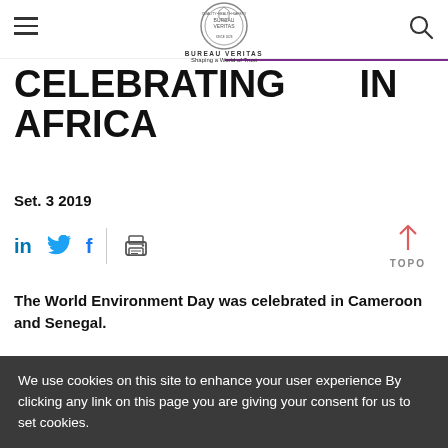Bureau Veritas — Shaping a World of Trust
CELEBRATING IN AFRICA
Set. 3 2019
The World Environment Day was celebrated in Cameroon and Senegal.
In Cameroon, our team intervened with the
We use cookies on this site to enhance your user experience By clicking any link on this page you are giving your consent for us to set cookies.